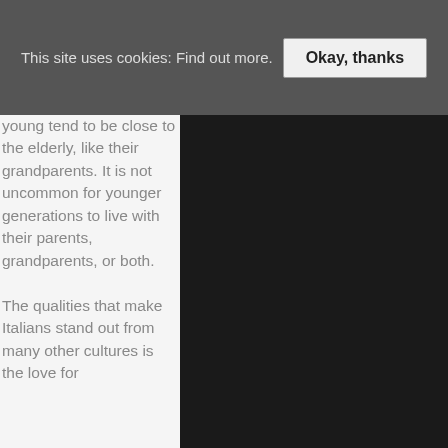This site uses cookies: Find out more. Okay, thanks
young tend to be close to the elderly, like their grandparents. It is not uncommon for younger generations to live with their parents, grandparents, or both.

The qualities that make Italians stand out from many other cultures is the love for